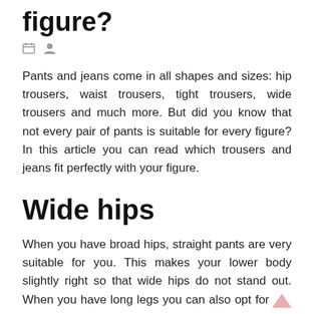figure?
[Figure (other): Small calendar icon and user/person icon]
Pants and jeans come in all shapes and sizes: hip trousers, waist trousers, tight trousers, wide trousers and much more. But did you know that not every pair of pants is suitable for every figure? In this article you can read which trousers and jeans fit perfectly with your figure.
Wide hips
When you have broad hips, straight pants are very suitable for you. This makes your lower body slightly right so that wide hips do not stand out. When you have long legs you can also opt for pants with wider, flared legs. These make you